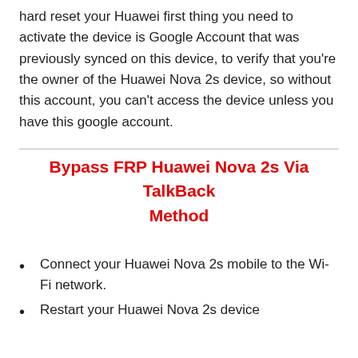hard reset your Huawei first thing you need to activate the device is Google Account that was previously synced on this device, to verify that you're the owner of the Huawei Nova 2s device, so without this account, you can't access the device unless you have this google account.
Bypass FRP Huawei Nova 2s Via TalkBack Method
Connect your Huawei Nova 2s mobile to the Wi-Fi network.
Restart your Huawei Nova 2s device